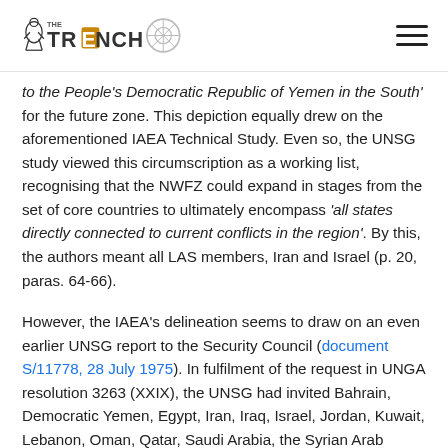THE TRENCH [logo]
to the People's Democratic Republic of Yemen in the South' for the future zone. This depiction equally drew on the aforementioned IAEA Technical Study. Even so, the UNSG study viewed this circumscription as a working list, recognising that the NWFZ could expand in stages from the set of core countries to ultimately encompass 'all states directly connected to current conflicts in the region'. By this, the authors meant all LAS members, Iran and Israel (p. 20, paras. 64-66).
However, the IAEA's delineation seems to draw on an even earlier UNSG report to the Security Council (document S/11778, 28 July 1975). In fulfilment of the request in UNGA resolution 3263 (XXIX), the UNSG had invited Bahrain, Democratic Yemen, Egypt, Iran, Iraq, Israel, Jordan, Kuwait, Lebanon, Oman, Qatar, Saudi Arabia, the Syrian Arab Republic,